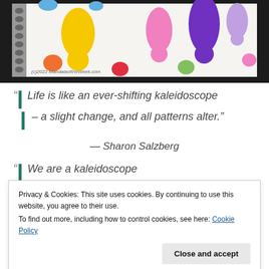[Figure (photo): A spiral-bound sketchbook with colorful teardrop and blob shapes drawn in marker: yellow, orange, red, pink, purple, lavender, green shapes on white paper. Watermark reads '(c)2022 MandalaoftheWeek.com']
“Life is like an ever-shifting kaleidoscope – a slight change, and all patterns alter.”
— Sharon Salzberg
“We are a kaleidoscope
Privacy & Cookies: This site uses cookies. By continuing to use this website, you agree to their use.
To find out more, including how to control cookies, see here: Cookie Policy
Close and accept
— K. M. Keeton